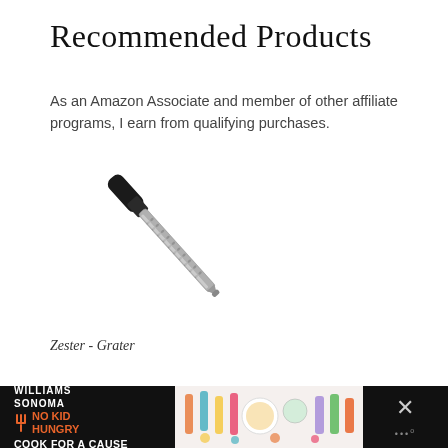Recommended Products
As an Amazon Associate and member of other affiliate programs, I earn from qualifying purchases.
[Figure (photo): A zester-grater kitchen tool with a black handle and long silver grating surface, photographed at an angle against a white background.]
Zester - Grater
Nutrition Information
[Figure (photo): Williams Sonoma No Kid Hungry Cook For A Cause advertisement banner with colorful spatulas and baking items on a dark background.]